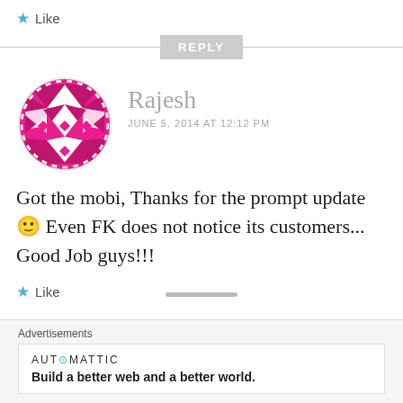★ Like
REPLY
[Figure (illustration): Circular magenta geometric avatar with triangular/diamond pattern on white background]
Rajesh
JUNE 5, 2014 AT 12:12 PM
Got the mobi, Thanks for the prompt update 🙂 Even FK does not notice its customers... Good Job guys!!!
★ Like
Advertisements
AUTOMATTIC
Build a better web and a better world.